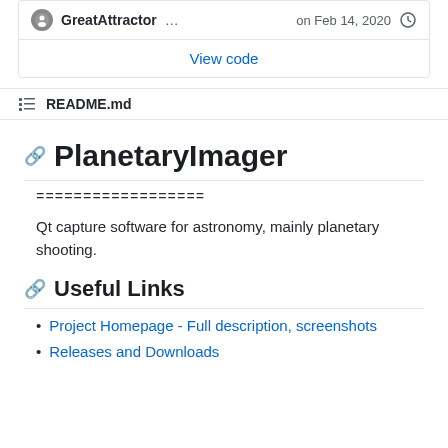[Figure (screenshot): GitHub repository page snippet showing GreatAttractor user, date Feb 14 2020, and View code link]
README.md
PlanetaryImager
==================
Qt capture software for astronomy, mainly planetary shooting.
Useful Links
Project Homepage - Full description, screenshots
Releases and Downloads